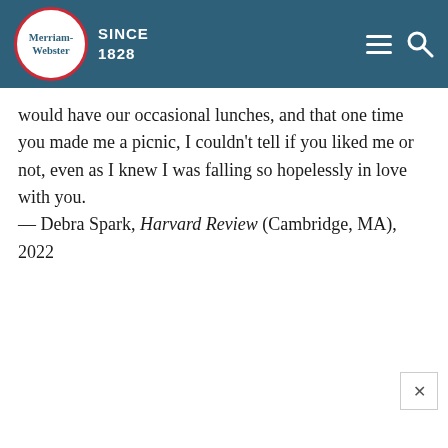Merriam-Webster SINCE 1828
would have our occasional lunches, and that one time you made me a picnic, I couldn't tell if you liked me or not, even as I knew I was falling so hopelessly in love with you.
— Debra Spark, Harvard Review (Cambridge, MA), 2022